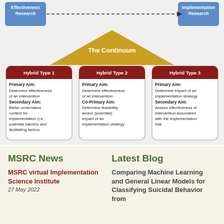[Figure (flowchart): Implementation science continuum diagram showing Effectiveness Research and Implementation Research connected by a dashed arrow, with a gold triangle labeled 'The Continuum' below, and three Hybrid Type cards (1, 2, 3) showing Primary and Secondary Aims.]
MSRC News
MSRC virtual Implementation Science Institute
27 May 2022
Latest Blog
Comparing Machine Learning and General Linear Models for Classifying Suicidal Behavior from